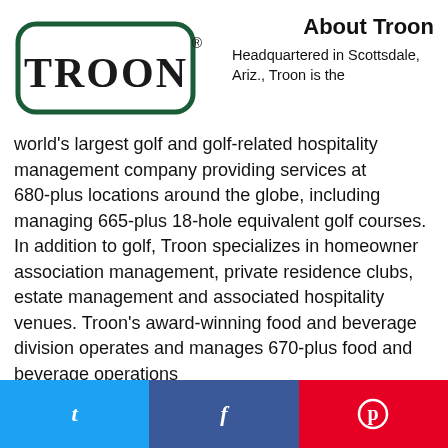About Troon
[Figure (logo): Troon logo: rectangular rounded-corner border in dark green with the word TROON in bold serif letters, registered trademark symbol]
Headquartered in Scottsdale, Ariz., Troon is the world's largest golf and golf-related hospitality management company providing services at 680-plus locations around the globe, including managing 665-plus 18-hole equivalent golf courses. In addition to golf, Troon specializes in homeowner association management, private residence clubs, estate management and associated hospitality venues. Troon's award-winning food and beverage division operates and manages 670-plus food and beverage operations